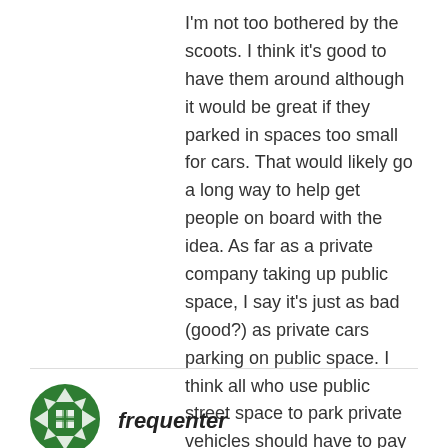I'm not too bothered by the scoots. I think it's good to have them around although it would be great if they parked in spaces too small for cars. That would likely go a long way to help get people on board with the idea. As far as a private company taking up public space, I say it's just as bad (good?) as private cars parking on public space. I think all who use public street space to park private vehicles should have to pay for it. I will disclose that I park one car on the street.
REPLY
[Figure (logo): Green circular avatar/logo with a decorative knot or cross pattern made of triangles and squares]
frequenter